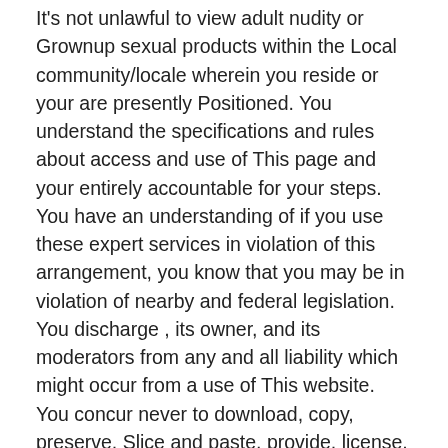It's not unlawful to view adult nudity or Grownup sexual products within the Local community/locale wherein you reside or your are presently Positioned. You understand the specifications and rules about access and use of This page and your entirely accountable for your steps. You have an understanding of if you use these expert services in violation of this arrangement, you know that you may be in violation of nearby and federal legislation. You discharge , its owner, and its moderators from any and all liability which might occur from a use of This website. You concur never to download, copy, preserve, Slice and paste, provide, license, rent, lease, modify, distribute, copy, reproduce, transmit, publicly Screen, publicly complete, publish, adapt, edit, or make spinoff works from supplies, code or material on or from This page with no prior consent of the particular operator(s) of the supplies.